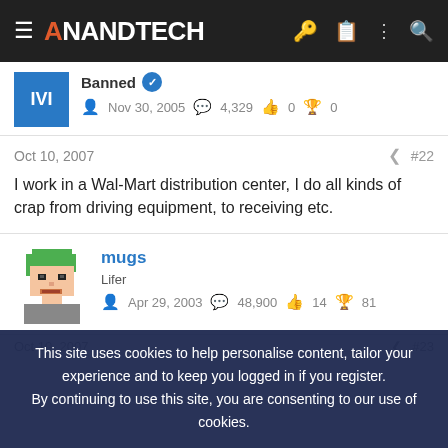AnandTech
Banned  Nov 30, 2005  4,329  0  0
Oct 10, 2007  #22
I work in a Wal-Mart distribution center, I do all kinds of crap from driving equipment, to receiving etc.
mugs  Lifer  Apr 29, 2003  48,900  14  81
Oct 10, 2007  #23
This site uses cookies to help personalise content, tailor your experience and to keep you logged in if you register. By continuing to use this site, you are consenting to our use of cookies.